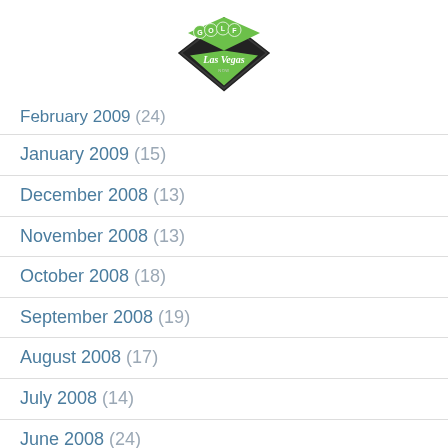[Figure (logo): Golf Las Vegas logo — green diamond shape with GOLF in bubble letters and 'Las Vegas' in script below]
February 2009 (24)
January 2009 (15)
December 2008 (13)
November 2008 (13)
October 2008 (18)
September 2008 (19)
August 2008 (17)
July 2008 (14)
June 2008 (24)
May 2008 (18)
April 2008 (14)